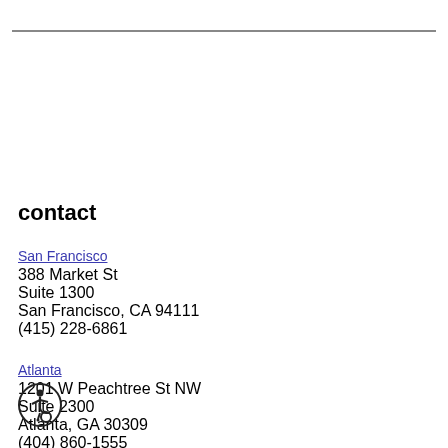contact
San Francisco
388 Market St
Suite 1300
San Francisco, CA 94111
(415) 228-6861
Atlanta
1201 W Peachtree St NW
Suite 2300
Atlanta, GA 30309
(404) 860-1555